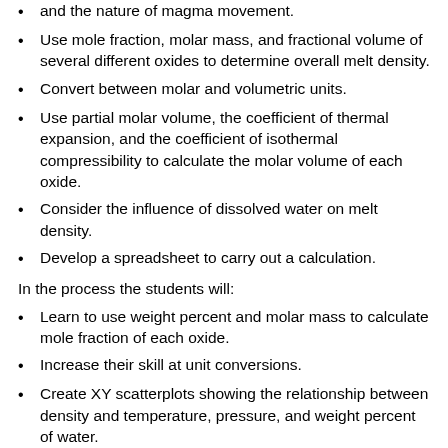and the nature of magma movement.
Use mole fraction, molar mass, and fractional volume of several different oxides to determine overall melt density.
Convert between molar and volumetric units.
Use partial molar volume, the coefficient of thermal expansion, and the coefficient of isothermal compressibility to calculate the molar volume of each oxide.
Consider the influence of dissolved water on melt density.
Develop a spreadsheet to carry out a calculation.
In the process the students will:
Learn to use weight percent and molar mass to calculate mole fraction of each oxide.
Increase their skill at unit conversions.
Create XY scatterplots showing the relationship between density and temperature, pressure, and weight percent of water.